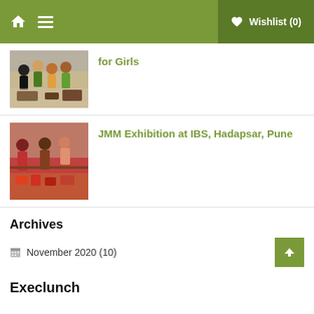Wishlist (0)
[Figure (photo): Group of women at a craft/exhibition stall]
for Girls
[Figure (photo): People at JMM exhibition stall with crafts]
JMM Exhibition at IBS, Hadapsar, Pune
Archives
November 2020 (10)
Execlunch